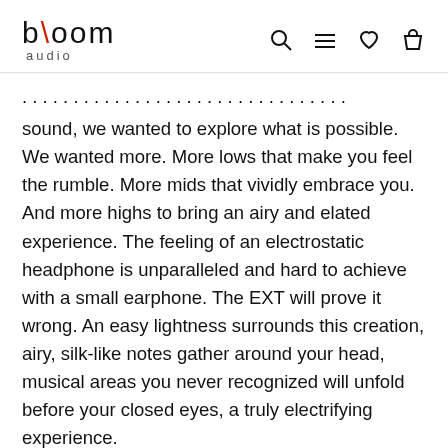bloom audio
sound, we wanted to explore what is possible. We wanted more. More lows that make you feel the rumble. More mids that vividly embrace you. And more highs to bring an airy and elated experience. The feeling of an electrostatic headphone is unparalleled and hard to achieve with a small earphone. The EXT will prove it wrong. An easy lightness surrounds this creation, airy, silk-like notes gather around your head, musical areas you never recognized will unfold before your closed eyes, a truly electrifying experience.